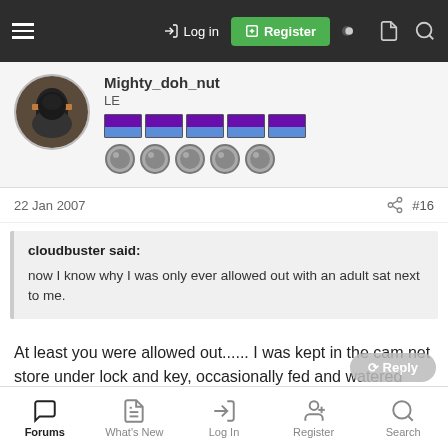Log in | Register
Mighty_doh_nut
LE
22 Jan 2007  #16
cloudbuster said:
now I know why I was only ever allowed out with an adult sat next to me.
At least you were allowed out...... I was kept in the cam net store under lock and key, occasionally fed and watered
Forums | What's New | Log In | Register | Search